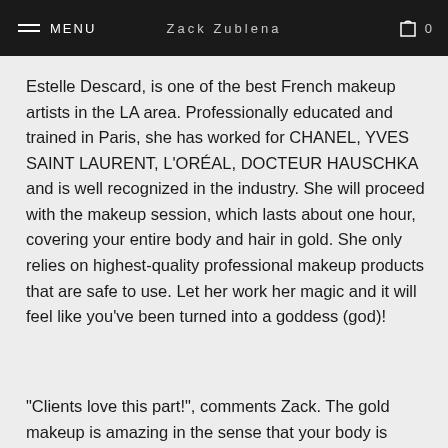MENU  ZACK ZUBLENA  0
Estelle Descard, is one of the best French makeup artists in the LA area. Professionally educated and trained in Paris, she has worked for CHANEL, YVES SAINT LAURENT, L'ORÉAL, DOCTEUR HAUSCHKA and is well recognized in the industry. She will proceed with the makeup session, which lasts about one hour,   covering your entire body and hair in gold. She only relies on highest-quality professional makeup products that are safe to use. Let her work her magic and it will feel like you've been turned into a goddess (god)!
“Clients love this part!”, comments Zack. The gold makeup is amazing in the sense that your body is transformed into an